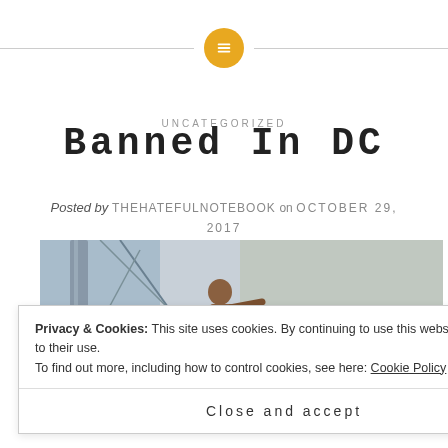[Figure (logo): Circular amber/gold icon with text-align lines symbol, centered between two horizontal lines forming a header divider]
UNCATEGORIZED
Banned In DC
Posted by THEHATEFULNOTEBOOK on OCTOBER 29, 2017
[Figure (photo): Outdoor photograph showing a person with arms outstretched on what appears to be a platform or stage structure, with a grey wall or building in the background]
Privacy & Cookies: This site uses cookies. By continuing to use this website, you agree to their use.
To find out more, including how to control cookies, see here: Cookie Policy
Close and accept